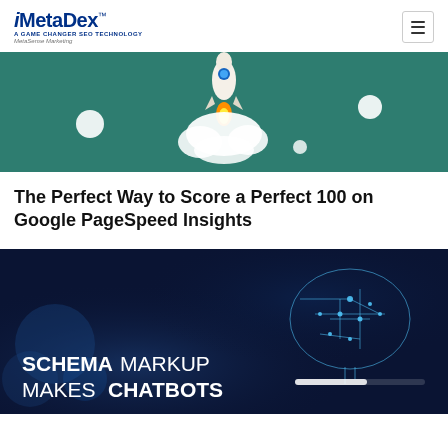iMetaDex™ — A GAME CHANGER SEO TECHNOLOGY — MetaSense Marketing
[Figure (illustration): Rocket launching upward with flame and smoke cloud on a teal/green background with white bokeh circles]
The Perfect Way to Score a Perfect 100 on Google PageSpeed Insights
[Figure (illustration): Digital AI brain circuit illustration on dark blue background with text 'SCHEMA MARKUP MAKES CHATBOTS' and a progress bar element]